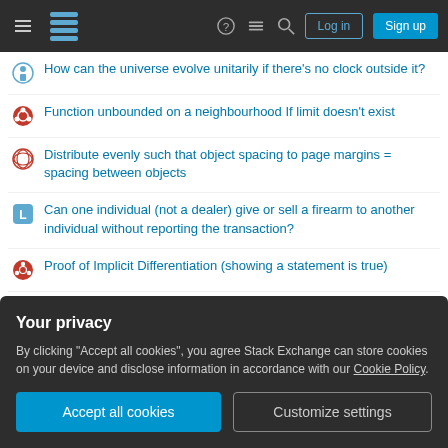Stack Exchange navigation bar with hamburger menu, logo, help, chat, search icons, Log in and Sign up buttons
How can the universe evolve unitarily if there's no clock outside it?
Function unbounded on a neighbourhood If limit doesn't exist
Distribute evenly such that object spacing to page margins = spacing between objects
Can one individual (not a dealer) give or sell a firearm to another individual without reporting the transaction?
Proof of Implicit Differentiation (showing a statement is true)
Isn't the phrase "minutes show" grammatically weird at the end of this text?
In MS-DOS, how much stack do I need to make an int21 call?
Why would Sam NOT note the date when his own daughter was born?
Your privacy
By clicking "Accept all cookies", you agree Stack Exchange can store cookies on your device and disclose information in accordance with our Cookie Policy.
Accept all cookies | Customize settings